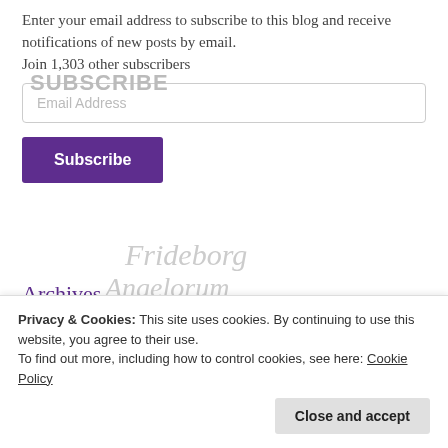Enter your email address to subscribe to this blog and receive notifications of new posts by email. Join 1,303 other subscribers
Email Address
Subscribe
Archives
Select Month
Privacy & Cookies: This site uses cookies. By continuing to use this website, you agree to their use. To find out more, including how to control cookies, see here: Cookie Policy
Close and accept